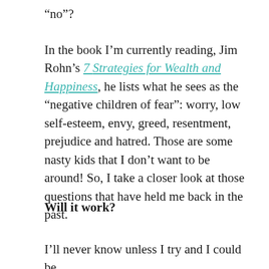“no”?
In the book I’m currently reading, Jim Rohn’s 7 Strategies for Wealth and Happiness, he lists what he sees as the “negative children of fear”: worry, low self-esteem, envy, greed, resentment, prejudice and hatred. Those are some nasty kids that I don’t want to be around! So, I take a closer look at those questions that have held me back in the past.
Will it work?
I’ll never know unless I try and I could be